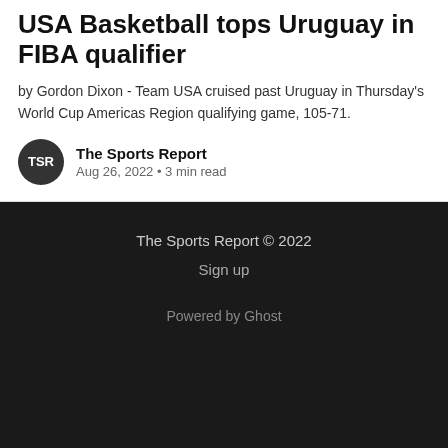USA Basketball tops Uruguay in FIBA qualifier
by Gordon Dixon - Team USA cruised past Uruguay in Thursday's World Cup Americas Region qualifying game, 105-71.
The Sports Report
Aug 26, 2022 • 3 min read
The Sports Report © 2022
Sign up
Powered by Ghost